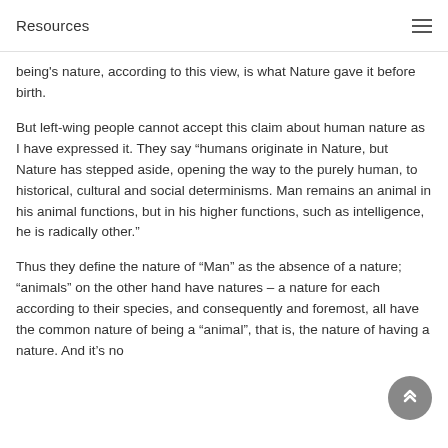Resources
being's nature, according to this view, is what Nature gave it before birth.
But left-wing people cannot accept this claim about human nature as I have expressed it. They say "humans originate in Nature, but Nature has stepped aside, opening the way to the purely human, to historical, cultural and social determinisms. Man remains an animal in his animal functions, but in his higher functions, such as intelligence, he is radically other."
Thus they define the nature of "Man" as the absence of a nature; "animals" on the other hand have natures – a nature for each according to their species, and consequently and foremost, all have the common nature of being a "animal", that is, the nature of having a nature. And it's no